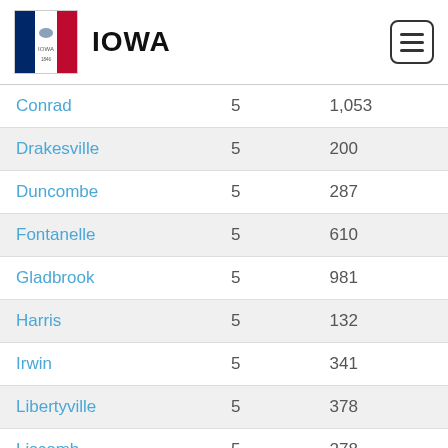IOWA
| City | Col2 | Population |
| --- | --- | --- |
| Conrad | 5 | 1,053 |
| Drakesville | 5 | 200 |
| Duncombe | 5 | 287 |
| Fontanelle | 5 | 610 |
| Gladbrook | 5 | 981 |
| Harris | 5 | 132 |
| Irwin | 5 | 341 |
| Libertyville | 5 | 378 |
| Liscomb | 5 | 278 |
| Livermore | 5 | 341 |